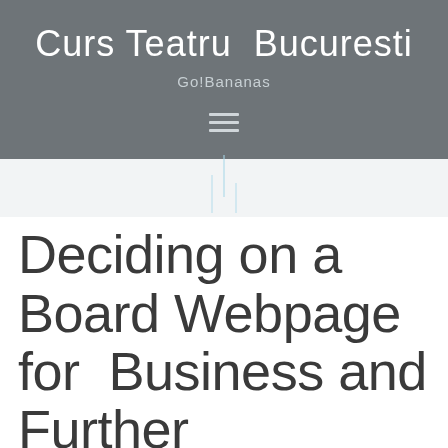Curs Teatru Bucuresti
Go!Bananas
[Figure (other): Hamburger menu icon with three horizontal lines]
[Figure (other): Decorative vertical bar lines graphic in light blue/cyan color]
Deciding on a Board Webpage for Business and Further